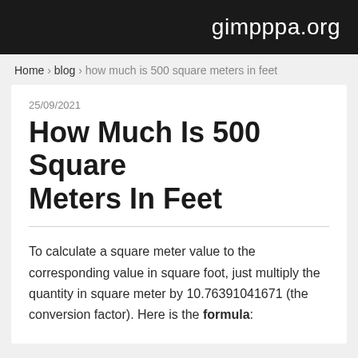gimpppa.org
Home › blog › how much is 500 square meters in feet
25/09/2021
How Much Is 500 Square Meters In Feet
To calculate a square meter value to the corresponding value in square foot, just multiply the quantity in square meter by 10.76391041671 (the conversion factor). Here is the formula: